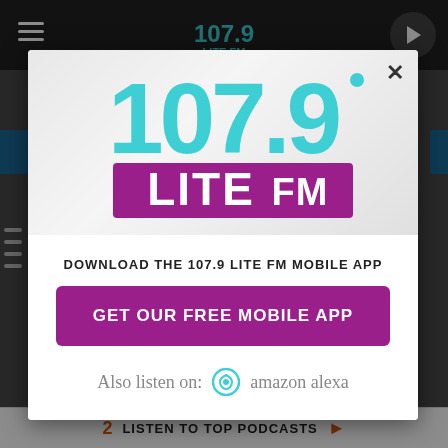[Figure (screenshot): Mobile website screenshot showing 107.9 Lite FM radio station page with a modal popup dialog]
[Figure (logo): 107.9 Lite FM logo with teal/cyan numerals and purple LITE FM text]
DOWNLOAD THE 107.9 LITE FM MOBILE APP
GET OUR FREE MOBILE APP
Also listen on: amazon alexa
2  LISTEN TO TOP PODCASTS